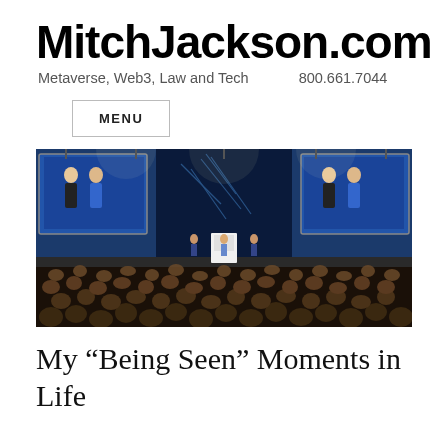MitchJackson.com
Metaverse, Web3, Law and Tech    800.661.7044
MENU
[Figure (photo): A large conference or event venue with a stage. Two large screens flank the stage showing two presenters standing together. A white podium is on stage. The audience fills the foreground, viewed from behind.]
My “Being Seen” Moments in Life